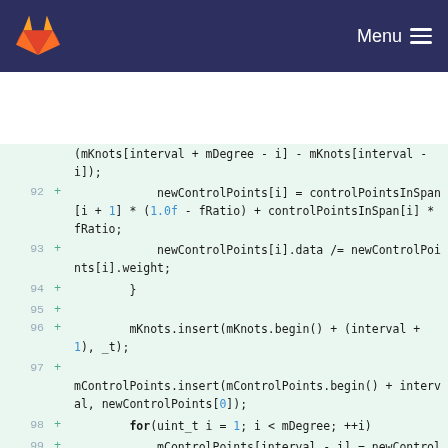GitLab — Menu
[Figure (screenshot): Code diff view showing lines 92-99+ of a C++ source file with added lines (marked with +) on a light green background. Lines show control point and knot insertion logic for B-spline/NURBS operations.]